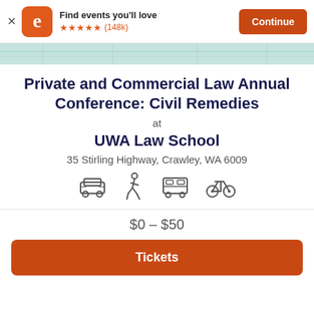Find events you'll love ★★★★★ (148k) Continue
[Figure (map): Partial map background strip showing street map in teal/green tones]
Private and Commercial Law Annual Conference: Civil Remedies
at
UWA Law School
35 Stirling Highway, Crawley, WA 6009
[Figure (infographic): Four transport icons: car, walking person, bus, bicycle]
$0 – $50
Tickets